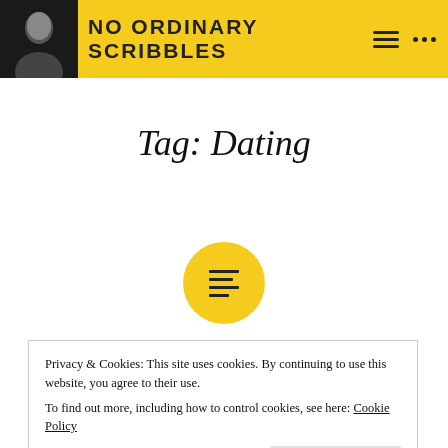NO ORDINARY SCRIBBLES
Tag: Dating
[Figure (illustration): Yellow circular icon with horizontal text lines (document/article icon)]
Posted on October 28, 2018 in inspiration
Privacy & Cookies: This site uses cookies. By continuing to use this website, you agree to their use. To find out more, including how to control cookies, see here: Cookie Policy
One:Speeches At